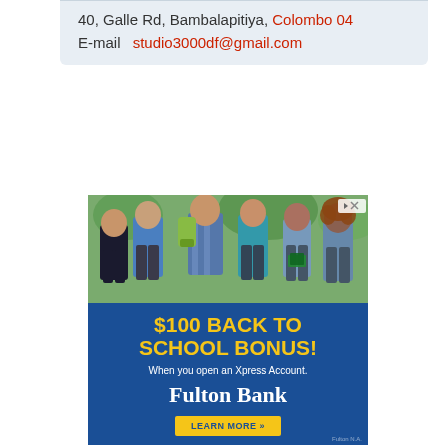40, Galle Rd, Bambalapitiya, Colombo 04
E-mail  studio3000df@gmail.com
[Figure (illustration): Advertisement banner for Fulton Bank showing a group of diverse college students outdoors, with text '$100 BACK TO SCHOOL BONUS! When you open an Xpress Account.' and a 'LEARN MORE' button.]